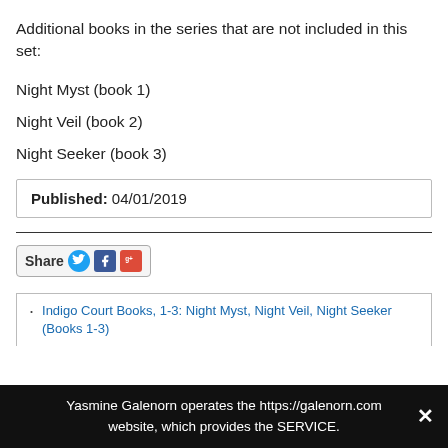Additional books in the series that are not included in this set:
Night Myst (book 1)
Night Veil (book 2)
Night Seeker (book 3)
| Published: 04/01/2019 |
[Figure (other): Share button with Twitter, Facebook, and Google+ icons]
Indigo Court Books, 1-3: Night Myst, Night Veil, Night Seeker (Books 1-3)
Yasmine Galenorn operates the https://galenorn.com website, which provides the SERVICE.